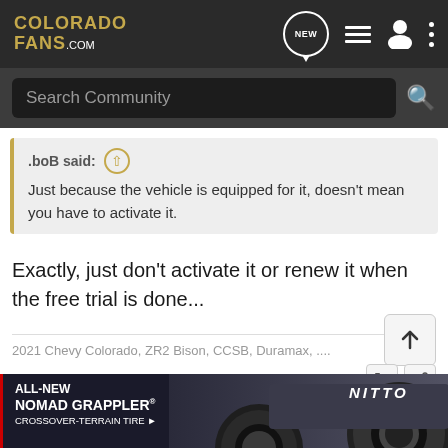COLORADO FANS.COM
Search Community
.boB said: ↑
Just because the vehicle is equipped for it, doesn't mean you have to activate it.
Exactly, just don't activate it or renew it when the free trial is done...
2021 Chevy Colorado, ZR2 Bison, CCSB, Duramax, ....
[Figure (screenshot): Nitto ALL-NEW NOMAD GRAPPLER CROSSOVER-TERRAIN TIRE advertisement banner]